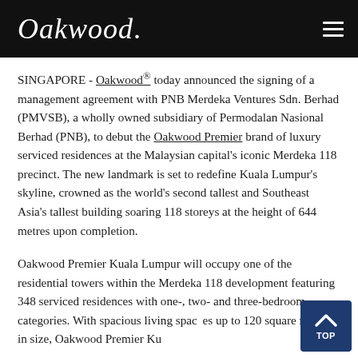Oakwood.
SINGAPORE - Oakwood® today announced the signing of a management agreement with PNB Merdeka Ventures Sdn. Berhad (PMVSB), a wholly owned subsidiary of Permodalan Nasional Berhad (PNB), to debut the Oakwood Premier brand of luxury serviced residences at the Malaysian capital's iconic Merdeka 118 precinct. The new landmark is set to redefine Kuala Lumpur's skyline, crowned as the world's second tallest and Southeast Asia's tallest building soaring 118 storeys at the height of 644 metres upon completion.
Oakwood Premier Kuala Lumpur will occupy one of the residential towers within the Merdeka 118 development featuring 348 serviced residences with one-, two- and three-bedroom categories. With spacious living spaces up to 120 square metres in size, Oakwood Premier Kuala